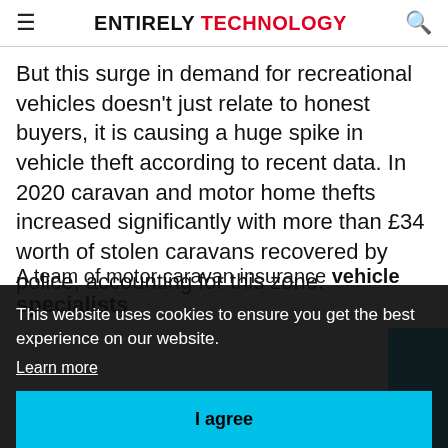ENTIRELY TECHNOLOGY
But this surge in demand for recreational vehicles doesn't just relate to honest buyers, it is causing a huge spike in vehicle theft according to recent data. In 2020 caravan and motor home thefts increased significantly with more than £34 worth of stolen caravans recovered by police, accounting for this zone.
This website uses cookies to ensure you get the best experience on our website. Learn more
I agree
A team of motor caravan insurance specialists